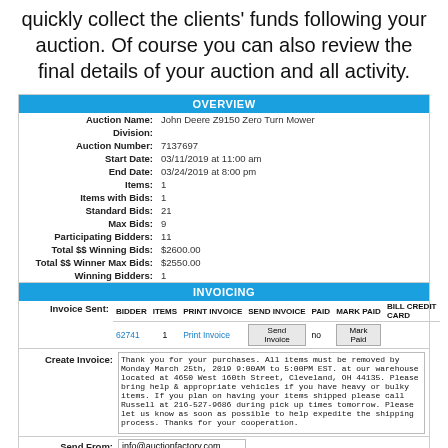quickly collect the clients' funds following your auction. Of course you can also review the final details of your auction and all activity.
| OVERVIEW |
| --- |
| Auction Name: | John Deere Z9150 Zero Turn Mower |
| Division: |  |
| Auction Number: | 7137697 |
| Start Date: | 03/11/2019 at 11:00 am |
| End Date: | 03/24/2019 at 8:00 pm |
| Items: | 1 |
| Items with Bids: | 1 |
| Standard Bids: | 21 |
| Max Bids: | 9 |
| Participating Bidders: | 11 |
| Total $$ Winning Bids: | $2600.00 |
| Total $$ Winner Max Bids: | $2550.00 |
| Winning Bidders: | 1 |
| INVOICING | BIDDER | ITEMS | PRINT INVOICE | SEND INVOICE | PAID | MARK PAID | BILL CREDIT CARD |
| --- | --- | --- | --- | --- | --- | --- | --- |
| 62741 | 1 | Print Invoice | Send Invoice | no | Mark Paid |  |
Thank you for your purchases. All items must be removed by Monday March 25th, 2019 9:00AM to 5:00PM EST. at our warehouse located at 4650 West 160th Street, Cleveland, OH 44135. Please bring help & appropriate vehicles if you have heavy or bulky items. If you plan on having your items shipped please call Russell at 216-527-9686 during pick up times tomorrow. Please let us know as soon as possible to help expedite the shipping process. Thanks for your cooperation.
Send From: info@auctionfactory.com
Tax Rate: 0.0800   (7.75% paid by extend = 0.0775)